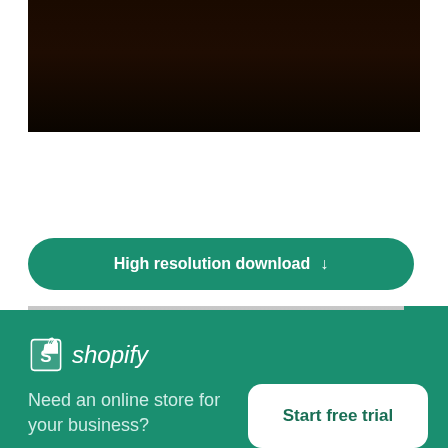[Figure (photo): Dark corridor/room scene — top portion of a stock photo, very dark brownish-black background]
A Woman In A Summer Dress Walks Through A Corridor
High resolution download ↓
[Figure (photo): Bottom portion of a stock photo showing a blurred grey/silver scene]
[Figure (logo): Shopify logo — shopping bag icon with 'S' and italic wordmark 'shopify']
Need an online store for your business?
Start free trial